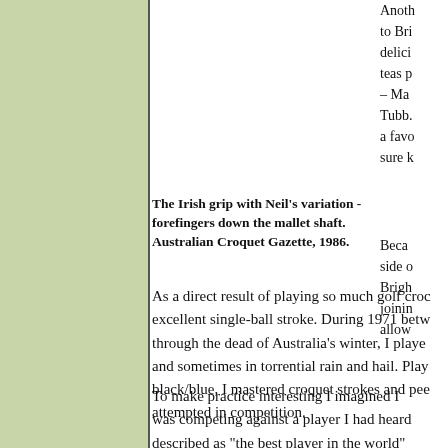Another [text continues off left]... to Bri... delici... teas p... – Ma... Tubb... a favo... sure k...
Becau... side o... Brigh... joinin... allow...
The Irish grip with Neil's variation - forefingers down the mallet shaft. Australian Croquet Gazette, 1986.
As a direct result of playing so much golf croc... excellent single-ball stroke. During 1971 betw... through the dead of Australia's winter, I playe... and sometimes in torrential rain and hail. Play... black/blue, I mastered croquet strokes and pee... attempted in competition.
To make practice interesting I imagined I was competing against a player I had heard described as "the best player in the world" based on his performances in the 1963 and...